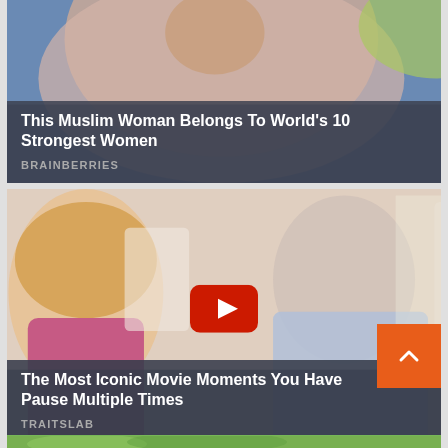[Figure (photo): Photo of a Muslim woman wearing a pink hijab, overlaid with a dark semi-transparent banner containing article title and source]
This Muslim Woman Belongs To World's 10 Strongest Women
BRAINBERRIES
[Figure (screenshot): Movie scene with a blonde woman in pink and a man in a blue shirt, with a YouTube play button overlay, overlaid with a dark semi-transparent banner]
The Most Iconic Movie Moments You Have Pause Multiple Times
TRAITSLAB
[Figure (photo): Partial view of a third article card with green/nature imagery at the bottom edge of the page]